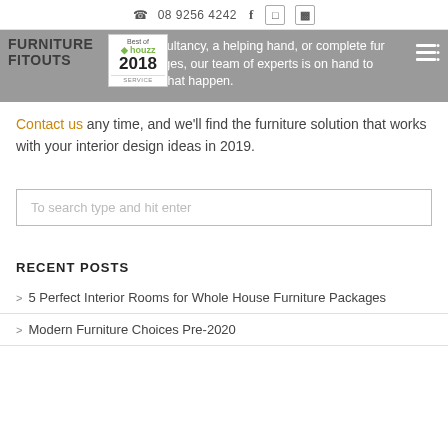08 9256 4242
[Figure (logo): Furniture Fitouts logo overlaid on gray banner with Best of Houzz 2018 Service badge]
...ee...e consultancy, a helping hand, or complete fur...packages, our team of experts is on hand to make that happen.
Contact us any time, and we'll find the furniture solution that works with your interior design ideas in 2019.
To search type and hit enter
RECENT POSTS
5 Perfect Interior Rooms for Whole House Furniture Packages
Modern Furniture Choices Pre-2020